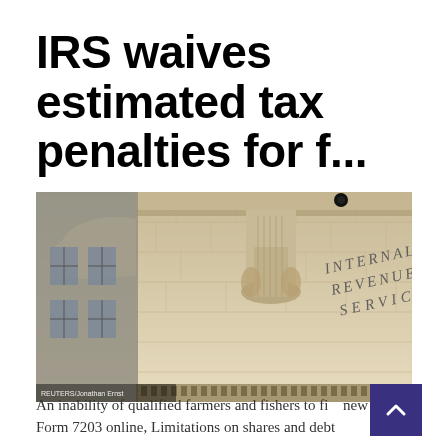IRS waives estimated tax penalties for f...
[Figure (photo): Exterior photograph of the Internal Revenue Service building, showing ornate neoclassical stonework, columns, and the words INTERNAL REVENUE SERVICE inscribed on the facade, taken from a low angle against a partly cloudy sky. Watermark reads REUTERS/Jonathan Ernst.]
An inability of qualified farmers and fishers to fi... new Form 7203 online, Limitations on shares and debt